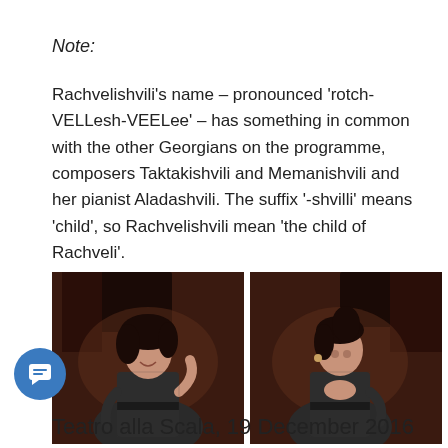Note:
Rachvelishvili's name – pronounced 'rotch-VELLesh-VEELee' – has something in common with the other Georgians on the programme, composers Taktakishvili and Memanishvili and her pianist Aladashvili. The suffix '-shvilli' means 'child', so Rachvelishvili mean 'the child of Rachveli'.
[Figure (photo): Two side-by-side photos of a woman (mezzo-soprano Anita Rachvelishvili) on stage in front of a grand piano, wearing a dark lace dress. Left photo: smiling and gesturing with hand. Right photo: hand on chest in a bow.]
Teatro alla Scala, 19 December 2016